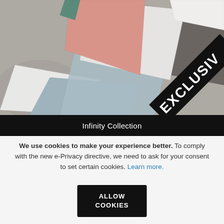[Figure (photo): Overhead photo of various colored tile samples arranged on a concrete surface. Colors include pink, white, gray, blue-gray, and green. A black diagonal banner in the bottom-right corner reads 'EXCLUSIV' (partially visible).]
Infinity Collection
We use cookies to make your experience better. To comply with the new e-Privacy directive, we need to ask for your consent to set certain cookies. Learn more.
ALLOW COOKIES